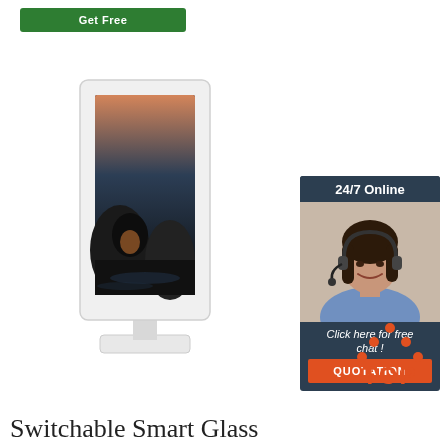[Figure (other): Green button labeled 'Get Free']
[Figure (photo): White freestanding digital kiosk display showing a coastal rock scene with sunset on its screen]
[Figure (infographic): 24/7 Online chat widget with woman wearing headset, 'Click here for free chat!' text, and orange QUOTATION button]
[Figure (logo): Red/orange TOP badge with dotted triangle above the word TOP]
Switchable Smart Glass